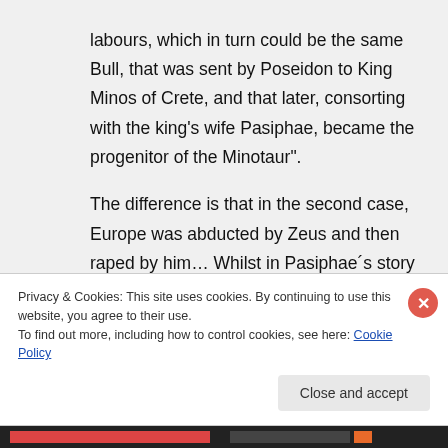labours, which in turn could be the same Bull, that was sent by Poseidon to King Minos of Crete, and that later, consorting with the king's wife Pasiphae, became the progenitor of the Minotaur".
The difference is that in the second case, Europe was abducted by Zeus and then raped by him… Whilst in Pasiphae´s story she was the one who cheated the white bull by using a wooden cow (built by Dedalus),
Privacy & Cookies: This site uses cookies. By continuing to use this website, you agree to their use.
To find out more, including how to control cookies, see here: Cookie Policy